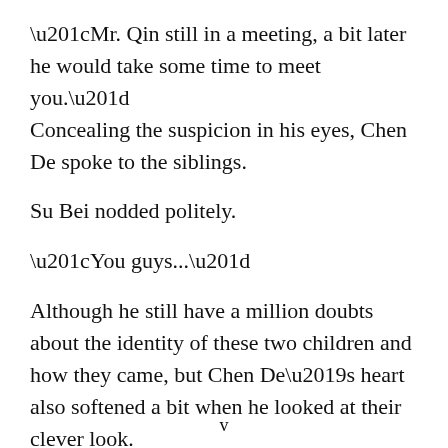“Mr. Qin still in a meeting, a bit later he would take some time to meet you.” Concealing the suspicion in his eyes, Chen De spoke to the siblings.
Su Bei nodded politely.
“You guys...”
Although he still have a million doubts about the identity of these two children and how they came, but Chen De’s heart also softened a bit when he looked at their clever look.
“Do you want to drink water?” Chen De took two
v